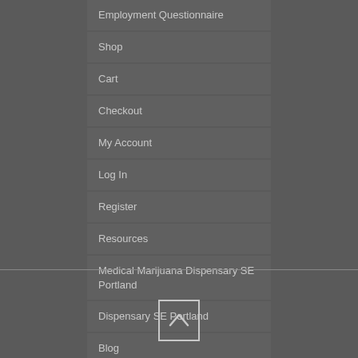Employment Questionnaire
Shop
Cart
Checkout
My Account
Log In
Register
Resources
Medical Marijuana Dispensary SE Portland
Dispensary SE Portland
Blog
[Figure (other): Back to top button — square outline with upward-pointing chevron arrow]